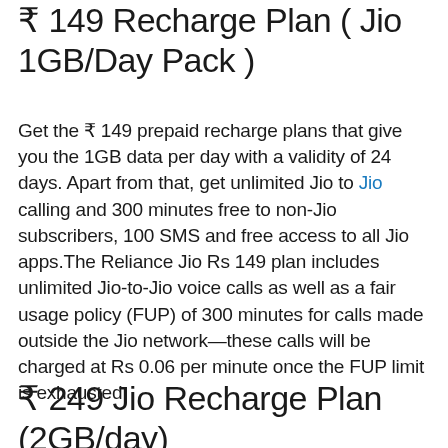₹ 149 Recharge Plan ( Jio 1GB/Day Pack )
Get the ₹ 149 prepaid recharge plans that give you the 1GB data per day with a validity of 24 days. Apart from that, get unlimited Jio to Jio calling and 300 minutes free to non-Jio subscribers, 100 SMS and free access to all Jio apps.The Reliance Jio Rs 149 plan includes unlimited Jio-to-Jio voice calls as well as a fair usage policy (FUP) of 300 minutes for calls made outside the Jio network—these calls will be charged at Rs 0.06 per minute once the FUP limit is exhausted
₹ 249 Jio Recharge Plan (2GB/day)